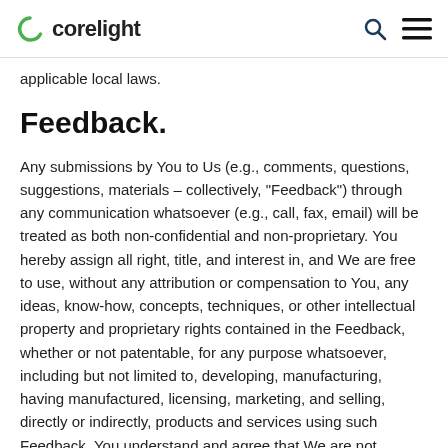corelight
applicable local laws.
Feedback.
Any submissions by You to Us (e.g., comments, questions, suggestions, materials – collectively, "Feedback") through any communication whatsoever (e.g., call, fax, email) will be treated as both non-confidential and non-proprietary. You hereby assign all right, title, and interest in, and We are free to use, without any attribution or compensation to You, any ideas, know-how, concepts, techniques, or other intellectual property and proprietary rights contained in the Feedback, whether or not patentable, for any purpose whatsoever, including but not limited to, developing, manufacturing, having manufactured, licensing, marketing, and selling, directly or indirectly, products and services using such Feedback. You understand and agree that We are not